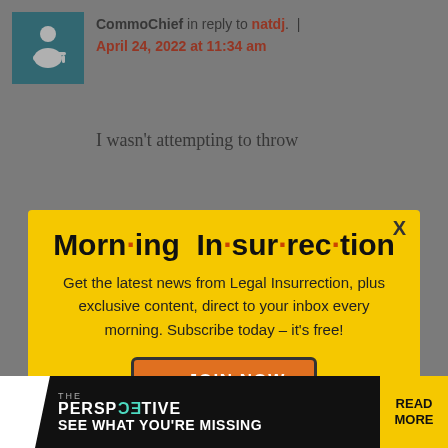CommoChief in reply to natdj. | April 24, 2022 at 11:34 am
I wasn't attempting to throw
[Figure (screenshot): Modal popup with yellow background titled 'Morning Insurrection' newsletter signup with JOIN NOW button]
It was an uphill struggle w entrenched opposition from
[Figure (infographic): Bottom ad bar: THE PERSPECTIVE - SEE WHAT YOU'RE MISSING - READ MORE]